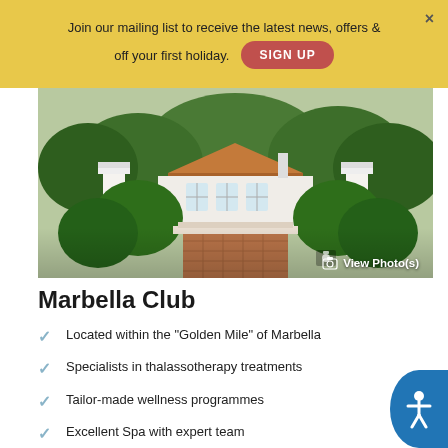Join our mailing list to receive the latest news, offers & off your first holiday.
SIGN UP
[Figure (photo): Elegant white Mediterranean-style hotel villa with terracotta roof, arched entrance, lush green hedges, and a brick driveway, viewed through an archway.]
View Photo(s)
Marbella Club
Located within the "Golden Mile" of Marbella
Specialists in thalassotherapy treatments
Tailor-made wellness programmes
Excellent Spa with expert team